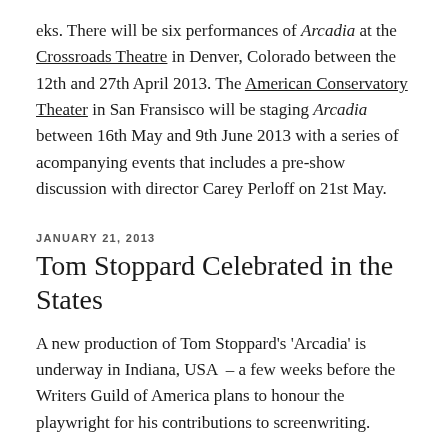eks. There will be six performances of Arcadia at the Crossroads Theatre in Denver, Colorado between the 12th and 27th April 2013. The American Conservatory Theater in San Fransisco will be staging Arcadia between 16th May and 9th June 2013 with a series of acompanying events that includes a pre-show discussion with director Carey Perloff on 21st May.
JANUARY 21, 2013
Tom Stoppard Celebrated in the States
A new production of Tom Stoppard's 'Arcadia' is underway in Indiana, USA  – a few weeks before the Writers Guild of America plans to honour the playwright for his contributions to screenwriting.
The Civic Theatre of Greater Lafayette's production of